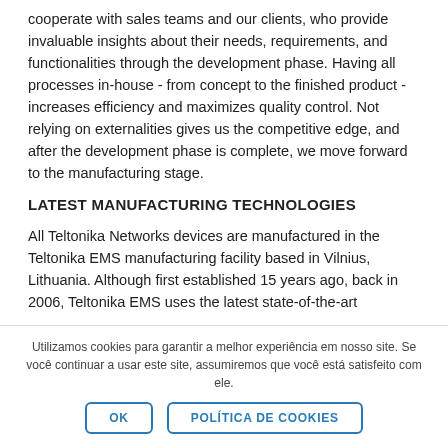cooperate with sales teams and our clients, who provide invaluable insights about their needs, requirements, and functionalities through the development phase. Having all processes in-house - from concept to the finished product - increases efficiency and maximizes quality control. Not relying on externalities gives us the competitive edge, and after the development phase is complete, we move forward to the manufacturing stage.
LATEST MANUFACTURING TECHNOLOGIES
All Teltonika Networks devices are manufactured in the Teltonika EMS manufacturing facility based in Vilnius, Lithuania. Although first established 15 years ago, back in 2006, Teltonika EMS uses the latest state-of-the-art
Utilizamos cookies para garantir a melhor experiência em nosso site. Se você continuar a usar este site, assumiremos que você está satisfeito com ele.